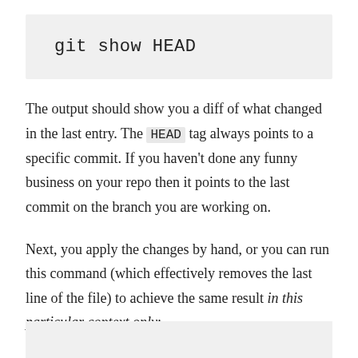[Figure (screenshot): Code block with light gray background showing the command: git show HEAD]
The output should show you a diff of what changed in the last entry. The HEAD tag always points to a specific commit. If you haven't done any funny business on your repo then it points to the last commit on the branch you are working on.
Next, you apply the changes by hand, or you can run this command (which effectively removes the last line of the file) to achieve the same result in this particular context only:
[Figure (screenshot): Start of another code block at the bottom of the page with light gray background]